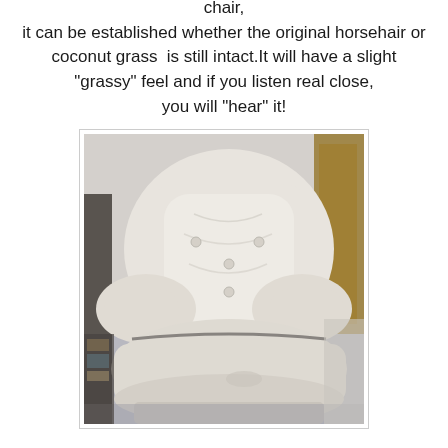chair, it can be established whether the original horsehair or coconut grass is still intact.It will have a slight "grassy" feel and if you listen real close, you will "hear" it!
[Figure (photo): A white tufted upholstered armchair photographed from the front, showing the padded back with button tufting and rounded arms, against a room background.]